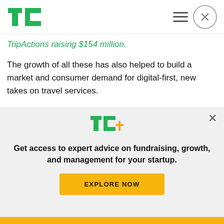TechCrunch
TripActions raising $154 million.
The growth of all these has also helped to build a market and consumer demand for digital-first, new takes on travel services.
“The major trend here is that it’s not the same tourists than the tourists that you had 10 to 20 years
[Figure (logo): TechCrunch TC+ logo with green TC and orange plus sign]
Get access to expert advice on fundraising, growth, and management for your startup.
EXPLORE NOW